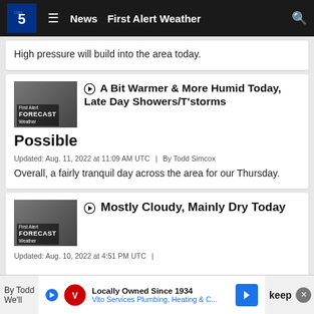CBS 5 | News | First Alert Weather
High pressure will build into the area today.
A Bit Warmer & More Humid Today, Late Day Showers/T'storms Possible
Updated: Aug. 11, 2022 at 11:09 AM UTC  |  By Todd Simcox
Overall, a fairly tranquil day across the area for our Thursday.
Mostly Cloudy, Mainly Dry Today
Updated: Aug. 10, 2022 at 4:51 PM UTC  |
By Todd
We'll
keep
Locally Owned Since 1934 | Vito Services Plumbing, Heating & C...